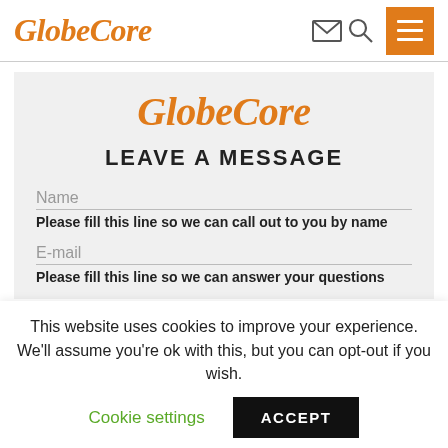GlobeCore
[Figure (logo): GlobeCore logo in large italic orange text inside the form card]
LEAVE A MESSAGE
Name
Please fill this line so we can call out to you by name
E-mail
Please fill this line so we can answer your questions
This website uses cookies to improve your experience. We'll assume you're ok with this, but you can opt-out if you wish.
Cookie settings
ACCEPT